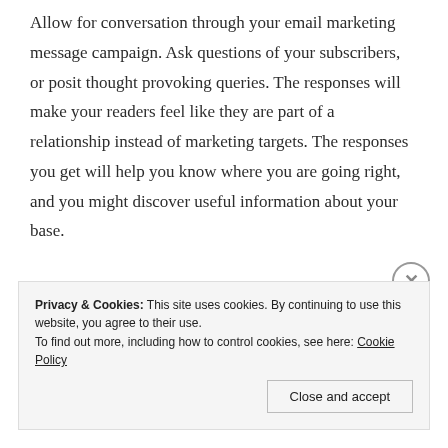Allow for conversation through your email marketing message campaign. Ask questions of your subscribers, or posit thought provoking queries. The responses will make your readers feel like they are part of a relationship instead of marketing targets. The responses you get will help you know where you are going right, and you might discover useful information about your base.
Privacy & Cookies: This site uses cookies. By continuing to use this website, you agree to their use.
To find out more, including how to control cookies, see here: Cookie Policy